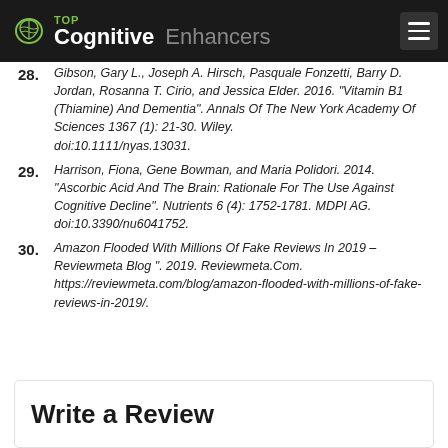TOP Cognitive Enhancers
28. Gibson, Gary L., Joseph A. Hirsch, Pasquale Fonzetti, Barry D. Jordan, Rosanna T. Cirio, and Jessica Elder. 2016. "Vitamin B1 (Thiamine) And Dementia". Annals Of The New York Academy Of Sciences 1367 (1): 21-30. Wiley. doi:10.1111/nyas.13031.
29. Harrison, Fiona, Gene Bowman, and Maria Polidori. 2014. "Ascorbic Acid And The Brain: Rationale For The Use Against Cognitive Decline". Nutrients 6 (4): 1752-1781. MDPI AG. doi:10.3390/nu6041752.
30. Amazon Flooded With Millions Of Fake Reviews In 2019 – Reviewmeta Blog ". 2019. Reviewmeta.Com. https://reviewmeta.com/blog/amazon-flooded-with-millions-of-fake-reviews-in-2019/.
Write a Review